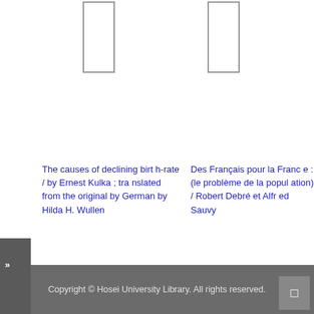[Figure (other): Book cover thumbnail placeholder (left) - empty white rectangle with border]
[Figure (other): Book cover thumbnail placeholder (right) - empty white rectangle with border]
The causes of declining birth-rate / by Ernest Kulka ; translated from the original by German by Hilda H. Wullen
Des Français pour la France : (le problème de la population) / Robert Debré et Alfred Sauvy
»
□ □□□□□□□□□
Copyright © Hosei University Library. All rights reserved.